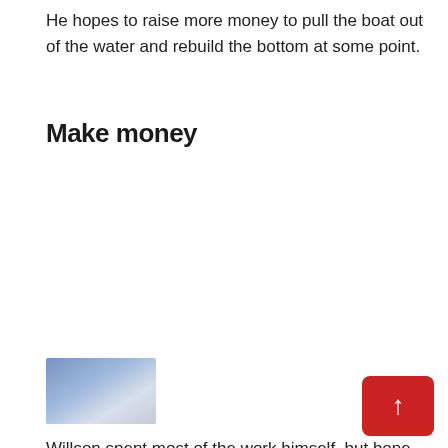He hopes to raise more money to pull the boat out of the water and rebuild the bottom at some point.
Make money
[Figure (photo): A blurred or pixelated photograph, appears to show an outdoor or water-related scene with blue and white tones.]
[Figure (other): Red back-to-top button with upward arrow icon, positioned in the lower right corner.]
Willson spent most of the work himself, but hope raise money to convert it into a museum.